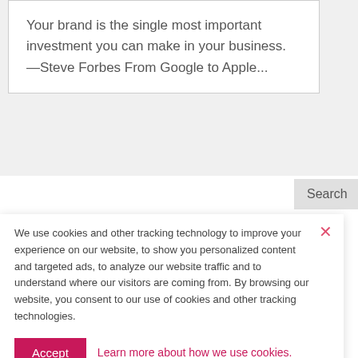Your brand is the single most important investment you can make in your business. —Steve Forbes From Google to Apple...
Search
R
5
4
Th
Bi
M
We use cookies and other tracking technology to improve your experience on our website, to show you personalized content and targeted ads, to analyze our website traffic and to understand where our visitors are coming from. By browsing our website, you consent to our use of cookies and other tracking technologies.
Accept
Learn more about how we use cookies.